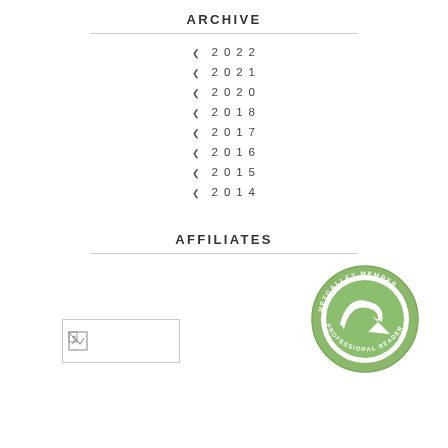ARCHIVE
2022
2021
2020
2018
2017
2016
2015
2014
AFFILIATES
[Figure (logo): NetGalley Member Professional Reader circular badge in green and white]
[Figure (photo): Broken image placeholder with document icon]